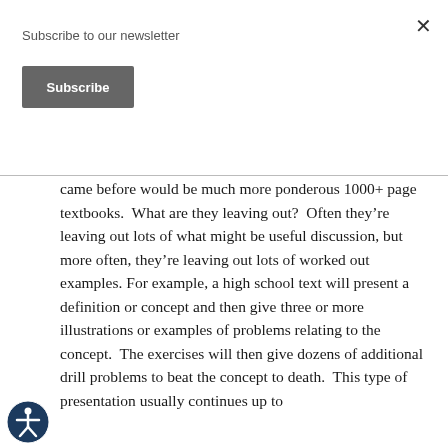Subscribe to our newsletter
Subscribe
came before would be much more ponderous 1000+ page textbooks.  What are they leaving out?  Often they’re leaving out lots of what might be useful discussion, but more often, they’re leaving out lots of worked out examples. For example, a high school text will present a definition or concept and then give three or more illustrations or examples of problems relating to the concept.  The exercises will then give dozens of additional drill problems to beat the concept to death.  This type of presentation usually continues up to